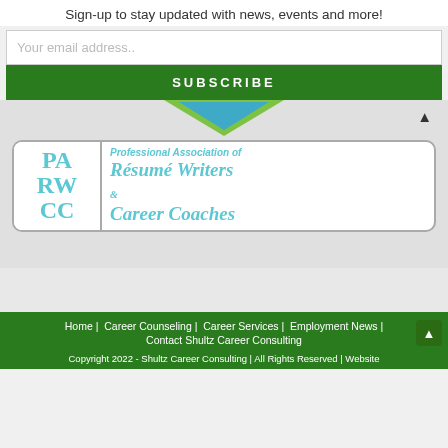Sign-up to stay updated with news, events and more!
Your email address..
SUBSCRIBE
[Figure (logo): PARWCC logo - Professional Association of Résumé Writers & Career Coaches]
Home | Career Counseling | Career Services | Employment News | Contact Shultz Career Consulting
Copyright 2022 - Shultz Career Consulting | All Rights Reserved | Website